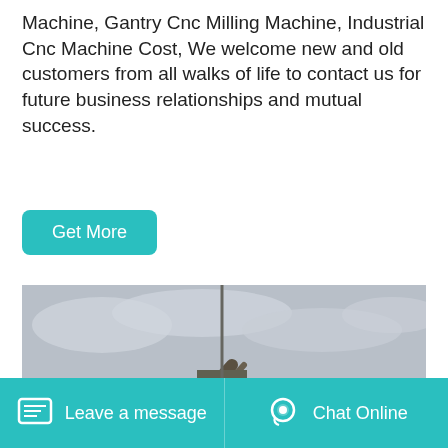Machine, Gantry Cnc Milling Machine, Industrial Cnc Machine Cost, We welcome new and old customers from all walks of life to contact us for future business relationships and mutual success.
Get More
[Figure (photo): Industrial mining or quarrying facility showing large conveyor belts, metal framework structures, and piles of crushed rock or aggregate material under a cloudy sky.]
Leave a message
Chat Online